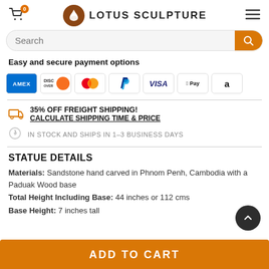Lotus Sculpture
Easy and secure payment options
[Figure (other): Payment method icons: AMEX, Discover, Mastercard, PayPal, VISA, Apple Pay, Amazon Pay]
35% OFF FREIGHT SHIPPING! CALCULATE SHIPPING TIME & PRICE
IN STOCK AND SHIPS IN 1-3 BUSINESS DAYS
STATUE DETAILS
Materials: Sandstone hand carved in Phnom Penh, Cambodia with a Paduak Wood base
Total Height Including Base: 44 inches or 112 cms
Base Height: 7 inches tall
ADD TO CART